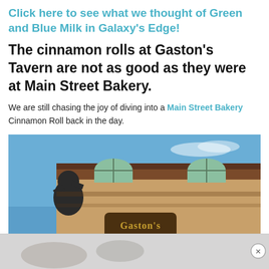Click here to see what we thought of Green and Blue Milk in Galaxy's Edge!
The cinnamon rolls at Gaston's Tavern are not as good as they were at Main Street Bakery.
We are still chasing the joy of diving into a Main Street Bakery Cinnamon Roll back in the day.
[Figure (photo): Exterior photo of Gaston's Tavern at Walt Disney World, showing the large Gaston statue and the colorful rustic building facade with arched windows and a Gaston's sign]
[Figure (photo): Partial ad banner at the bottom of the page showing a faded image, with an X close button on the right]